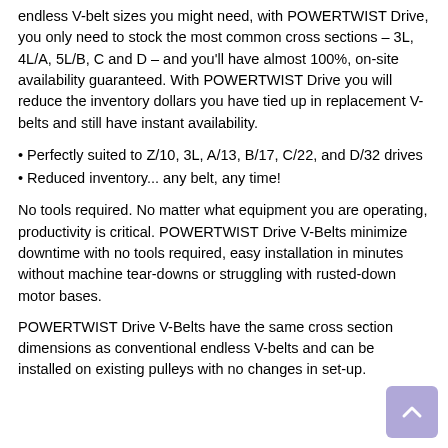endless V-belt sizes you might need, with POWERTWIST Drive, you only need to stock the most common cross sections – 3L, 4L/A, 5L/B, C and D – and you'll have almost 100%, on-site availability guaranteed. With POWERTWIST Drive you will reduce the inventory dollars you have tied up in replacement V-belts and still have instant availability.
Perfectly suited to Z/10, 3L, A/13, B/17, C/22, and D/32 drives
Reduced inventory... any belt, any time!
No tools required. No matter what equipment you are operating, productivity is critical. POWERTWIST Drive V-Belts minimize downtime with no tools required, easy installation in minutes without machine tear-downs or struggling with rusted-down motor bases.
POWERTWIST Drive V-Belts have the same cross section dimensions as conventional endless V-belts and can be installed on existing pulleys with no changes in set-up.